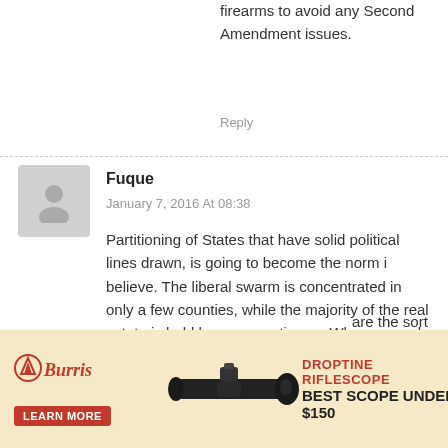firearms to avoid any Second Amendment issues.
Reply
Fuque
January 7, 2016 At 08:38
Partitioning of States that have solid political lines drawn, is going to become the norm i believe. The liberal swarm is concentrated in only a few counties, while the majority of the real estate is held by conservatives… When you only need 300k signatures to make law for an entire State, . you can get em on the city buses of LA in a week… leaving are the sort of ter of time.
[Figure (advertisement): Burris Droptine Riflescope advertisement showing a rifle scope image. Text reads: Burris, DROPTINE RIFLESCOPE, BEST SCOPE UNDER $150, LEARN MORE button.]